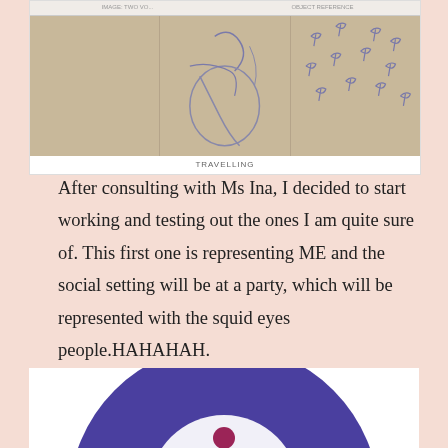[Figure (illustration): Three panel sketch on tan/beige background showing hand-drawn figures. Left panel is mostly blank tan. Middle panel shows a sketch of a figure with a circular object. Right panel shows multiple small bird or flower sketches. Below panels is caption text 'TRAVELLING'.]
After consulting with Ms Ina, I decided to start working and testing out the ones I am quite sure of. This first one is representing ME and the social setting will be at a party, which will be represented with the squid eyes people.HAHAHAH.
[Figure (illustration): Circular artwork showing a dark purple/blue glittery disc background with a white circle in the center containing a figure of a person in a red/maroon dress with arms outstretched, dancing or spinning. The image is partially visible at the bottom of the page.]